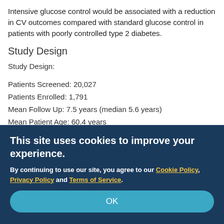Intensive glucose control would be associated with a reduction in CV outcomes compared with standard glucose control in patients with poorly controlled type 2 diabetes.
Study Design
Study Design:
Patients Screened: 20,027
Patients Enrolled: 1,791
Mean Follow Up: 7.5 years (median 5.6 years)
Mean Patient Age: 60.4 years
Female: 3
Patient Populations:
This site uses cookies to improve your experience.
By continuing to use our site, you agree to our Cookie Policy, Privacy Policy and Terms of Service.
OK